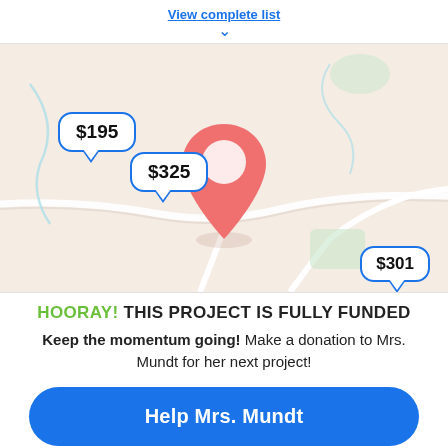View complete list
[Figure (map): A map screenshot showing a location pin (red teardrop shape) in the center, with speech bubbles showing donation amounts: $195, $325, and $301 at various locations on the map.]
HOORAY! THIS PROJECT IS FULLY FUNDED
Keep the momentum going! Make a donation to Mrs. Mundt for her next project!
Help Mrs. Mundt